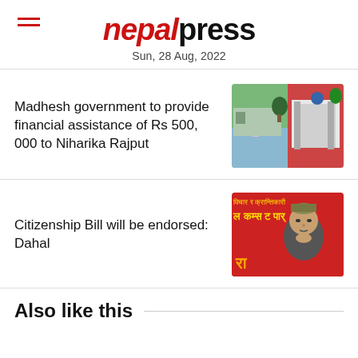nepalpress — Sun, 28 Aug, 2022
Madhesh government to provide financial assistance of Rs 500, 000 to Niharika Rajput
[Figure (photo): Photo showing a woman sitting in flood water and a building behind a red fence]
Citizenship Bill will be endorsed: Dahal
[Figure (photo): Photo of an elderly man in traditional Nepali cap against a red banner with Nepali text]
Also like this